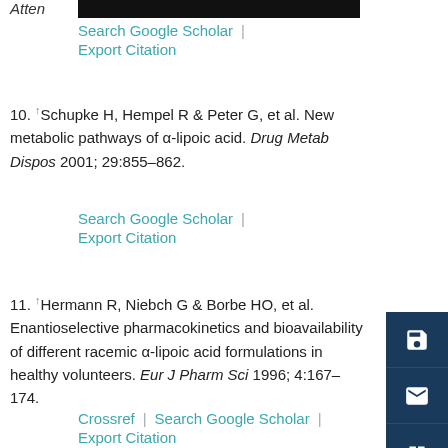Atten
Search Google Scholar | Export Citation
10. ↑Schupke H, Hempel R & Peter G, et al. New metabolic pathways of α-lipoic acid. Drug Metab Dispos 2001; 29:855–862.
Search Google Scholar | Export Citation
11. ↑Hermann R, Niebch G & Borbe HO, et al. Enantioselective pharmacokinetics and bioavailability of different racemic α-lipoic acid formulations in healthy volunteers. Eur J Pharm Sci 1996; 4:167–174.
Crossref | Search Google Scholar | Export Citation